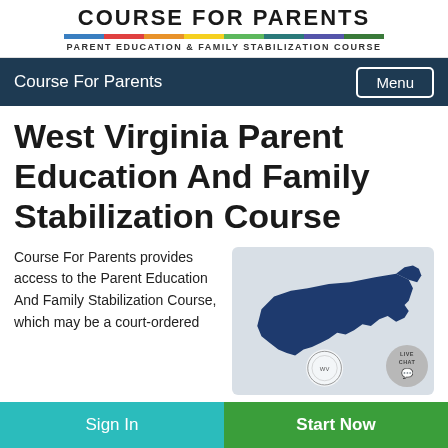Course For Parents — Parent Education & Family Stabilization Course
Course For Parents   Menu
West Virginia Parent Education And Family Stabilization Course
Course For Parents provides access to the Parent Education And Family Stabilization Course, which may be a court-ordered
[Figure (map): Map outline of West Virginia state in dark blue on light gray background, with West Virginia state seal/crest partially visible at bottom. Live Chat bubble overlay in bottom right corner.]